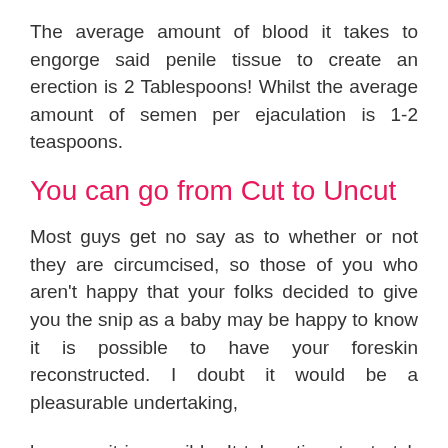The average amount of blood it takes to engorge said penile tissue to create an erection is 2 Tablespoons! Whilst the average amount of semen per ejaculation is 1-2 teaspoons.
You can go from Cut to Uncut
Most guys get no say as to whether or not they are circumcised, so those of you who aren't happy that your folks decided to give you the snip as a baby may be happy to know it is possible to have your foreskin reconstructed. I doubt it would be a pleasurable undertaking,
however it is possible. It takes time to stretch existing tissue to re-create the